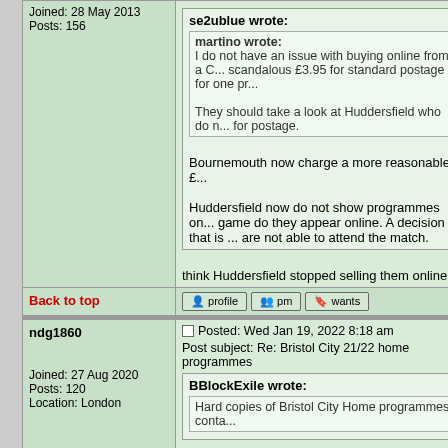Joined: 28 May 2013
Posts: 156
se2ublue wrote:
martino wrote:
I do not have an issue with buying online from a C... scandalous £3.95 for standard postage for one pr...
They should take a look at Huddersfield who do n... for postage.
Bournemouth now charge a more reasonable £...
Huddersfield now do not show programmes on... game do they appear online. A decision that is ... are not able to attend the match.
think Huddersfield stopped selling them online a
Back to top
profile   pm   wants
ndg1860
Joined: 27 Aug 2020
Posts: 120
Location: London
Posted: Wed Jan 19, 2022 8:18 am
Post subject: Re: Bristol City 21/22 home programmes
BBlockExile wrote:
Hard copies of Bristol City Home programmes conta...
Seems that there may be some problems here. ...
Sale Facebook site that the owner of this firm "is...
December and am still waiting to hear. I e-maile...